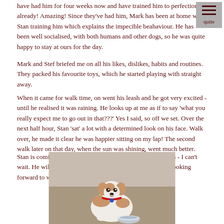have had him for four weeks now and have trained him to perfection already! Amazing! Since they've had him, Mark has been at home with Stan training him which explains the impecible beahaviour. He has been well socialised, with both humans and other dogs, so he was quite happy to stay at ours for the day.
Mark and Stef briefed me on all his likes, dislikes, habits and routines. They packed his favourite toys, which he started playing with straight away.
When it came for walk time, on went his leash and he got very excited - until he realised it was raining. He looks up at me as if to say 'what you really expect me to go out in that???' Yes I said, so off we set. Over the next half hour, Stan 'sat' a lot with a determined look on his face. Walk over, he made it clear he was happier sitting on my lap! The second walk later on that day, when the sun was shining, went much better.
Stan is coming to Doggy Day Care next week for three days - I can't wait. He will also join me on a regular walk schedule. I'm looking forward to watching him grow.
[Figure (photo): A small Jack Russell puppy with brown and white fur and a red collar, sitting near a metal bowl, looking up at the camera.]